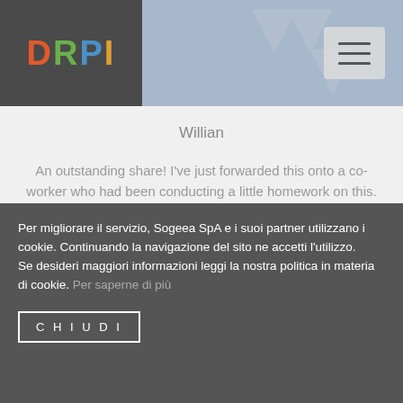DRPI
Willian
An outstanding share! I've just forwarded this onto a co-worker who had been conducting a little homework on this.
And he in fact ordered me lunch due to the fact that I stumbled upon it for him... lol. So allow me to reword this.... Thanks for the meal!! But yeah,
Per migliorare il servizio, Sogeea SpA e i suoi partner utilizzano i cookie. Continuando la navigazione del sito ne accetti l'utilizzo.
Se desideri maggiori informazioni leggi la nostra politica in materia di cookie. Per saperne di più
CHIUDI